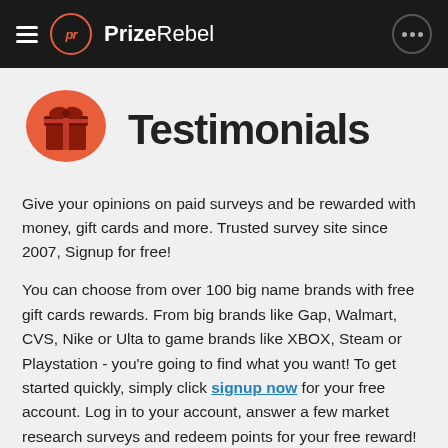PrizeRebel
Testimonials
Give your opinions on paid surveys and be rewarded with money, gift cards and more. Trusted survey site since 2007, Signup for free!
You can choose from over 100 big name brands with free gift cards rewards. From big brands like Gap, Walmart, CVS, Nike or Ulta to game brands like XBOX, Steam or Playstation - you're going to find what you want! To get started quickly, simply click signup now for your free account. Log in to your account, answer a few market research surveys and redeem points for your free reward!